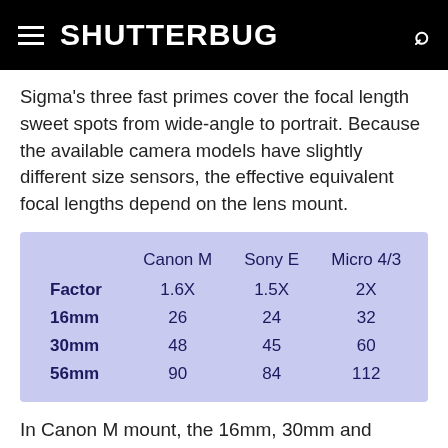SHUTTERBUG
Sigma's three fast primes cover the focal length sweet spots from wide-angle to portrait. Because the available camera models have slightly different size sensors, the effective equivalent focal lengths depend on the lens mount.
|  | Canon M | Sony E | Micro 4/3 |
| --- | --- | --- | --- |
| Factor | 1.6X | 1.5X | 2X |
| 16mm | 26 | 24 | 32 |
| 30mm | 48 | 45 | 60 |
| 56mm | 90 | 84 | 112 |
In Canon M mount, the 16mm, 30mm and 56mm focal lengths translate to 26mm, 48mm and 90mm